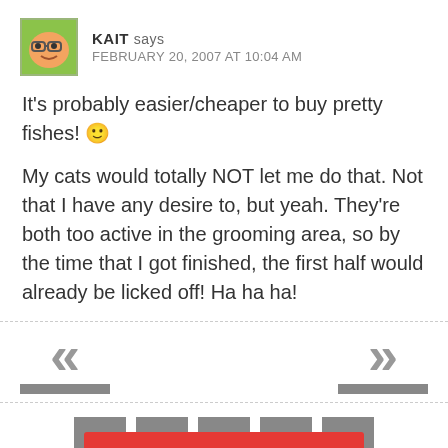KAIT says FEBRUARY 20, 2007 AT 10:04 AM
It's probably easier/cheaper to buy pretty fishes! 🙂
My cats would totally NOT let me do that. Not that I have any desire to, but yeah. They're both too active in the grooming area, so by the time that I got finished, the first half would already be licked off! Ha ha ha!
[Figure (infographic): Navigation arrows (left double chevron and right double chevron) with gray bars beneath them, and a row of social media icon buttons (Facebook, Pinterest, RSS, Twitter, YouTube)]